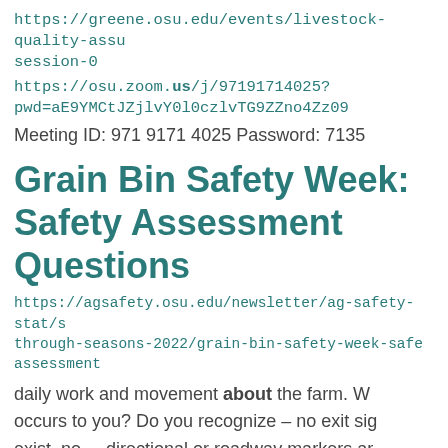https://greene.osu.edu/events/livestock-quality-assu
session-0
https://osu.zoom.us/j/97191714025?
pwd=aE9YMCtJZjlvY0l0czlvTG9ZZno4Zz09
Meeting ID: 971 9171 4025 Password: 713...
Grain Bin Safety Week: Safety Assessment Questions
https://agsafety.osu.edu/newsletter/ag-safety-stat/s
through-seasons-2022/grain-bin-safety-week-safe
assessment
daily work and movement about the farm. W occurs to you? Do you recognize – no exit sig exist, no ... directional or roadway markers ar present, there is not a property or building m be found? Think about ... barn or field? Take t